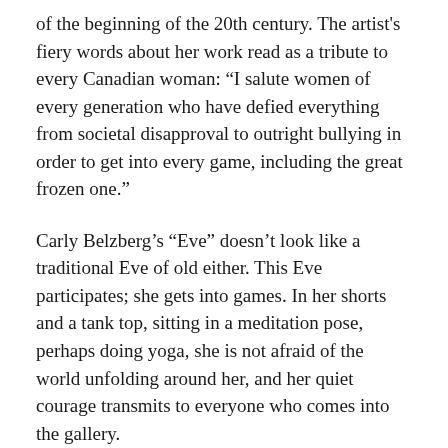of the beginning of the 20th century. The artist's fiery words about her work read as a tribute to every Canadian woman: “I salute women of every generation who have defied everything from societal disapproval to outright bullying in order to get into every game, including the great frozen one.”
Carly Belzberg’s “Eve” doesn’t look like a traditional Eve of old either. This Eve participates; she gets into games. In her shorts and a tank top, sitting in a meditation pose, perhaps doing yoga, she is not afraid of the world unfolding around her, and her quiet courage transmits to everyone who comes into the gallery.
Life is changing, and we’re changing with it, coming out of our traditional cocoon of domesticity, where women were confined (by choice and not) for generations – that seems to be the message of the